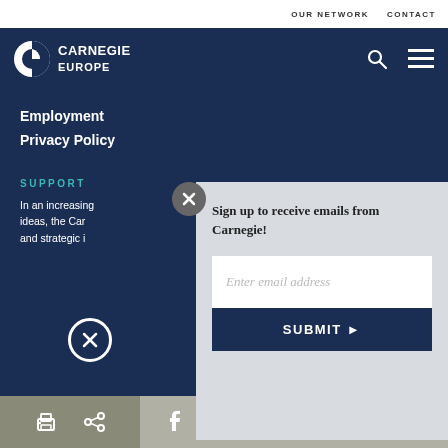OUR NETWORK   CONTACT
[Figure (logo): Carnegie Europe logo with circular icon and text]
Employment
Privacy Policy
SUPPORT
In an increasing ideas, the Car and strategic i
Sign up to receive emails from Carnegie!
Enter email address
SUBMIT ▶
[Figure (screenshot): Bottom social/share icons bar with print, share, Facebook, Twitter, WhatsApp, Messenger, LinkedIn icons]